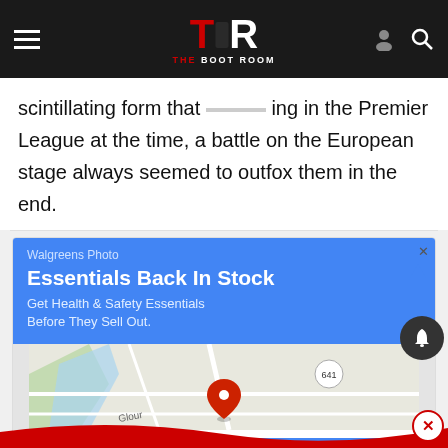TBR THE BOOT ROOM
scintillating form that [logo] ing in the Premier League at the time, a battle on the European stage always seemed to outfox them in the end.
[Figure (screenshot): Walgreens Photo advertisement: 'Essentials Back In Stock – Get Health & Safety Essentials Before They Sell Out.' with a Google Maps embed showing store location, and buttons for Store info and Directions.]